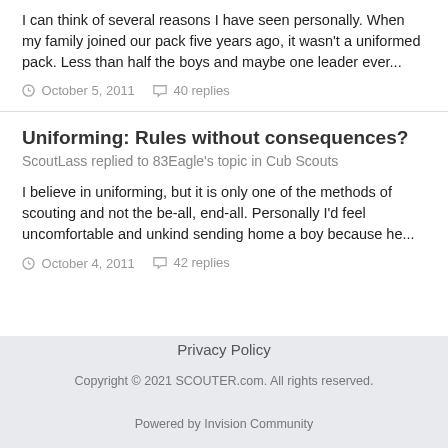I can think of several reasons I have seen personally. When my family joined our pack five years ago, it wasn't a uniformed pack. Less than half the boys and maybe one leader ever...
October 5, 2011   40 replies
Uniforming: Rules without consequences?
ScoutLass replied to 83Eagle's topic in Cub Scouts
I believe in uniforming, but it is only one of the methods of scouting and not the be-all, end-all. Personally I'd feel uncomfortable and unkind sending home a boy because he...
October 4, 2011   42 replies
Privacy Policy
Copyright © 2021 SCOUTER.com. All rights reserved.
Powered by Invision Community